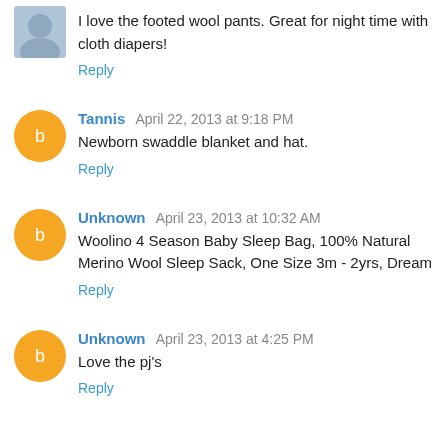I love the footed wool pants. Great for night time with cloth diapers!
Reply
Tannis April 22, 2013 at 9:18 PM
Newborn swaddle blanket and hat.
Reply
Unknown April 23, 2013 at 10:32 AM
Woolino 4 Season Baby Sleep Bag, 100% Natural Merino Wool Sleep Sack, One Size 3m - 2yrs, Dream
Reply
Unknown April 23, 2013 at 4:25 PM
Love the pj's
Reply